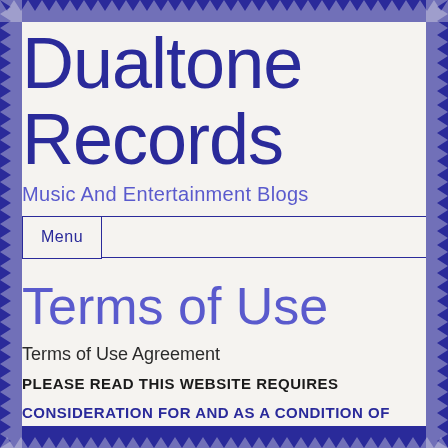Dualtone Records
Music And Entertainment Blogs
Menu
Terms of Use
Terms of Use Agreement
PLEASE READ THIS WEBSITE REQUIRES
CONSIDERATION FOR AND AS A CONDITION OF